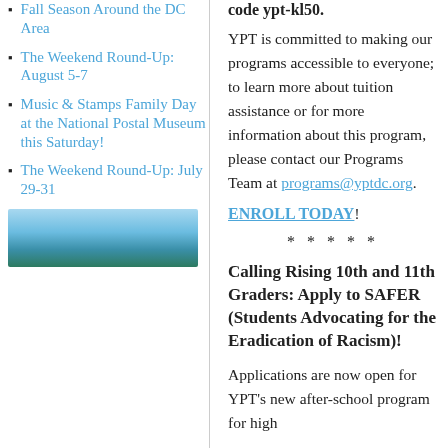Fall Season Around the DC Area
The Weekend Round-Up: August 5-7
Music & Stamps Family Day at the National Postal Museum this Saturday!
The Weekend Round-Up: July 29-31
[Figure (photo): Photo of trees with blue sky]
code ypt-kl50.
YPT is committed to making our programs accessible to everyone; to learn more about tuition assistance or for more information about this program, please contact our Programs Team at programs@yptdc.org.
ENROLL TODAY!
* * * * *
Calling Rising 10th and 11th Graders: Apply to SAFER (Students Advocating for the Eradication of Racism)!
Applications are now open for YPT's new after-school program for high